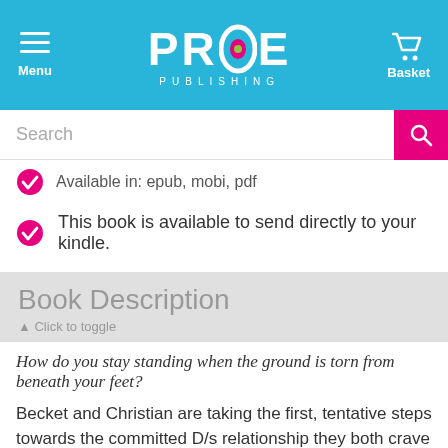PRIDE PUBLISHING — Menu | Basket
Search
Available in: epub, mobi, pdf
This book is available to send directly to your kindle.
Book Description
▲ Click to toggle
How do you stay standing when the ground is torn from beneath your feet?
Becket and Christian are taking the first, tentative steps towards the committed D/s relationship they both crave when the world literally explodes around them. In a frightening reversal of roles, Becket has to deal with his own vulnerability and Christian must find the strength to take care of his Dom. With the help of their friends at The Edge, the two men come to realise that dominance and submission